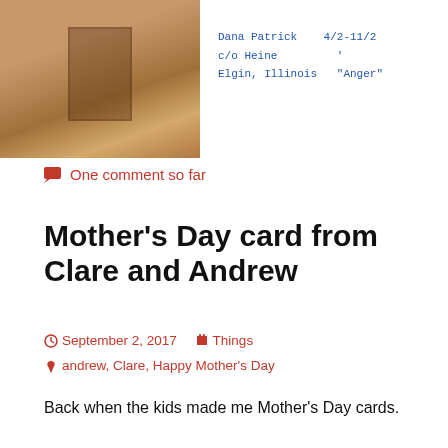[Figure (photo): Old sepia photograph showing what appears to be a door or window frame, partially visible. Next to it is handwritten text in blue ink reading: 'Dana Patrick 4/2-11/2, c/o Heine, Elgin, Illinois, "Anger"']
One comment so far
Mother's Day card from Clare and Andrew
September 2, 2017   Things   andrew, Clare, Happy Mother's Day
Back when the kids made me Mother's Day cards.